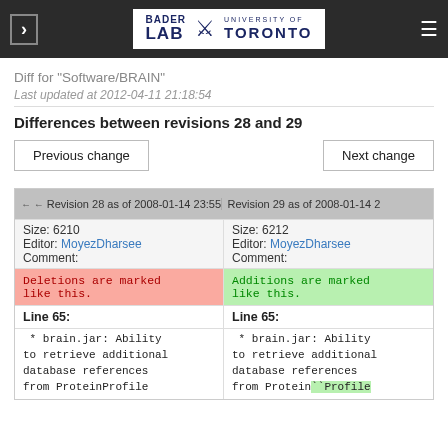Bader Lab – University of Toronto
Diff for "Software/BRAIN"
Last updated at 2012-04-11 21:18:54
Differences between revisions 28 and 29
Previous change | Next change
| Revision 28 as of 2008-01-14 23:55:35 | Revision 29 as of 2008-01-14 2… |
| --- | --- |
| Size: 6210 | Size: 6212 |
| Editor: MoyezDharsee | Editor: MoyezDharsee |
| Comment: | Comment: |
| Deletions are marked like this. | Additions are marked like this. |
| Line 65: | Line 65: |
|  * brain.jar: Ability
to retrieve additional
database references
from ProteinProfile |  * brain.jar: Ability
to retrieve additional
database references
from Protein``Profile |